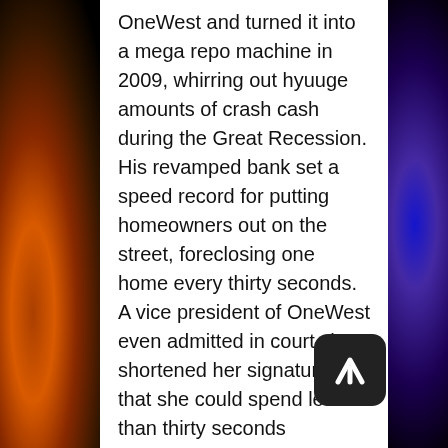OneWest and turned it into a mega repo machine in 2009, whirring out hyuuge amounts of crash cash during the Great Recession. His revamped bank set a speed record for putting homeowners out on the street, foreclosing one home every thirty seconds. A vice president of OneWest even admitted in court she shortened her signature so that she could spend less than thirty seconds processing each foreclosure. As a result of this rush to foreclose, the court found the bank had frequently mishandled documents because it did not even read many of them before foreclosing.
Munchkin's grim reaper of a bank closed its greedy grip on a whopping 35,000 homes during the Great Recession. The bank was